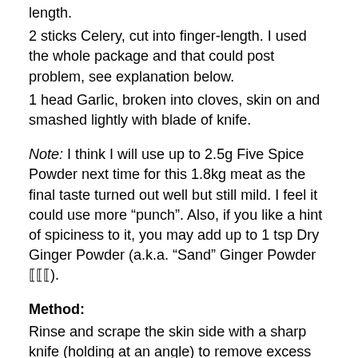length.
2 sticks Celery, cut into finger-length. I used the whole package and that could post problem, see explanation below.
1 head Garlic, broken into cloves, skin on and smashed lightly with blade of knife.
Note: I think I will use up to 2.5g Five Spice Powder next time for this 1.8kg meat as the final taste turned out well but still mild. I feel it could use more “punch”. Also, if you like a hint of spiciness to it, you may add up to 1 tsp Dry Ginger Powder (a.k.a. “Sand” Ginger Powder ⟦⟦⟦).
Method:
Rinse and scrape the skin side with a sharp knife (holding at an angle) to remove excess hair and scum on the pork skin. Rinse well again and pat dry with paper kitchen